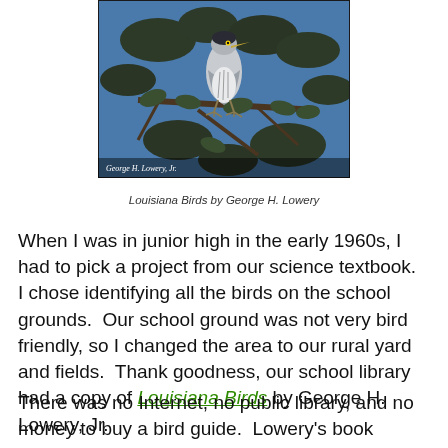[Figure (illustration): Book cover illustration of Louisiana Birds by George H. Lowery Jr., showing a bird (heron) perched on a branch against a blue background with dark foliage. Attribution text 'George H. Lowery, Jr.' appears at bottom of image.]
Louisiana Birds by George H. Lowery
When I was in junior high in the early 1960s, I had to pick a project from our science textbook.  I chose identifying all the birds on the school grounds.  Our school ground was not very bird friendly, so I changed the area to our rural yard and fields.  Thank goodness, our school library had a copy of Louisiana Birds by George H. Lowery, Jr.
There was no Internet, no public library, and no money to buy a bird guide.  Lowery's book started me on a lifelong journey of birding.  I was delighted when the third edition was printed in